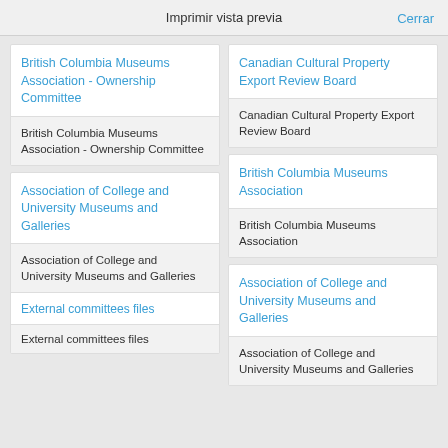Imprimir vista previa
Cerrar
British Columbia Museums Association - Ownership Committee
British Columbia Museums Association - Ownership Committee
Association of College and University Museums and Galleries
Association of College and University Museums and Galleries
External committees files
External committees files
Canadian Cultural Property Export Review Board
Canadian Cultural Property Export Review Board
British Columbia Museums Association
British Columbia Museums Association
Association of College and University Museums and Galleries
Association of College and University Museums and Galleries